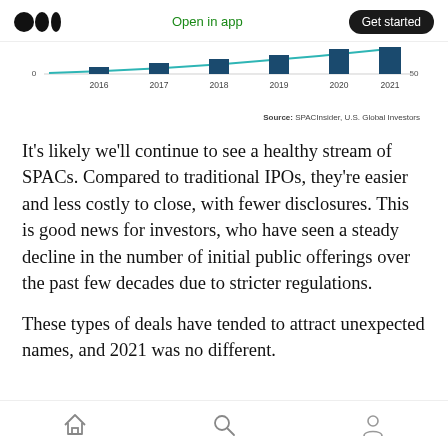Open in app | Get started
[Figure (bar-chart): SPAC activity by year]
Source: SPACInsider, U.S. Global Investors
It’s likely we’ll continue to see a healthy stream of SPACs. Compared to traditional IPOs, they’re easier and less costly to close, with fewer disclosures. This is good news for investors, who have seen a steady decline in the number of initial public offerings over the past few decades due to stricter regulations.
These types of deals have tended to attract unexpected names, and 2021 was no different.
Home | Search | Profile